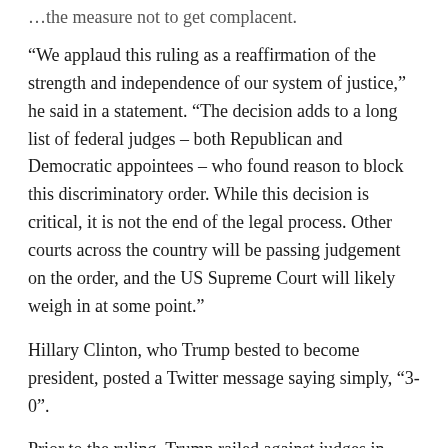…the measure not to get complacent.
“We applaud this ruling as a reaffirmation of the strength and independence of our system of justice,” he said in a statement. “The decision adds to a long list of federal judges – both Republican and Democratic appointees – who found reason to block this discriminatory order. While this decision is critical, it is not the end of the legal process. Other courts across the country will be passing judgement on the order, and the US Supreme Court will likely weigh in at some point.”
Hillary Clinton, who Trump bested to become president, posted a Twitter message saying simply, “3-0”.
Prior to the ruling, Trump railed against judges in general and decried the politics he said suffuses the judicial system. He also blamed any judges who might rule against him as being responsible if there’s a terror attack against the United States.